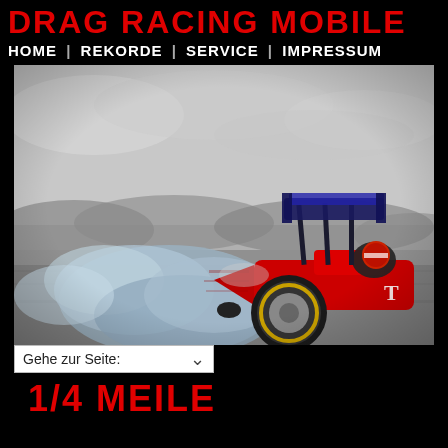DRAG RACING MOBILE
HOME | REKORDE | SERVICE | IMPRESSUM
[Figure (photo): Drag racing car (red) doing a burnout on a track, motion blur, black and white background with blue smoke from tires, large rear wing visible]
Gehe zur Seite:
1/4 Meile